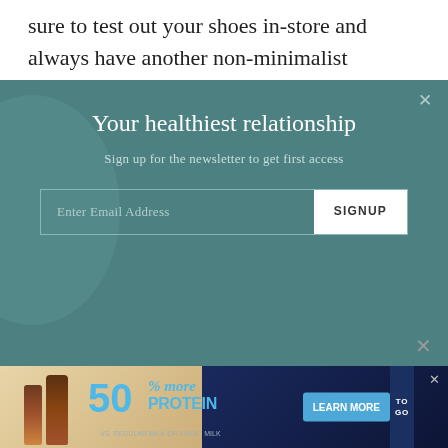sure to test out your shoes in-store and always have another non-minimalist (maximalist?) pair on deck.
[Figure (screenshot): Newsletter signup popup overlay with teal/dark green background, circular decorative element on left, title 'Your healthiest relationship', subtitle 'Sign up for the newsletter to get first access', email input field and SIGNUP button, close X button in top right]
Since running barefoot may not be the best idea (I'm actually cringing just thinking about doing that in New York City), here are six pairs of minimalist running shoes you'll be excited to lace up.
[Figure (screenshot): Advertisement banner for protein product showing '50% more PROTEIN vs. regular milk or choc. milk' with LEARN MORE button and TO GO branding, blue and tan color scheme]